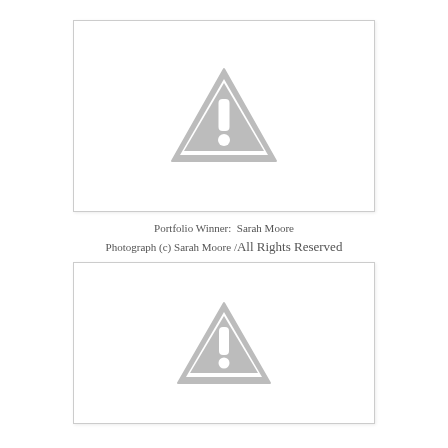[Figure (photo): Placeholder image box with warning triangle icon indicating missing or unavailable photograph]
Portfolio Winner:  Sarah Moore
Photograph (c) Sarah Moore /All Rights Reserved
[Figure (photo): Second placeholder image box with warning triangle icon indicating missing or unavailable photograph]